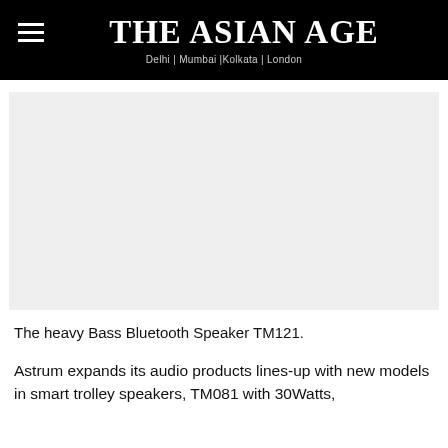The Asian Age — Delhi | Mumbai |Kolkata | London
[Figure (photo): Light gray placeholder image area representing a product photo of the heavy Bass Bluetooth Speaker TM121]
The heavy Bass Bluetooth Speaker TM121.
Astrum expands its audio products lines-up with new models in smart trolley speakers, TM081 with 30Watts,